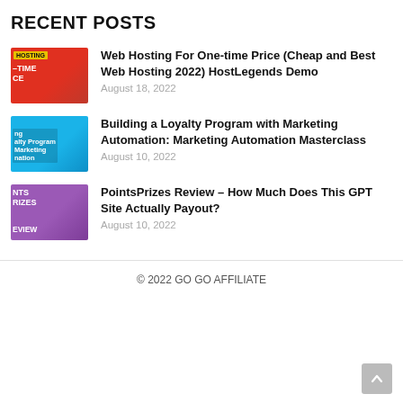RECENT POSTS
Web Hosting For One-time Price (Cheap and Best Web Hosting 2022) HostLegends Demo
August 18, 2022
Building a Loyalty Program with Marketing Automation: Marketing Automation Masterclass
August 10, 2022
PointsPrizes Review – How Much Does This GPT Site Actually Payout?
August 10, 2022
© 2022 GO GO AFFILIATE